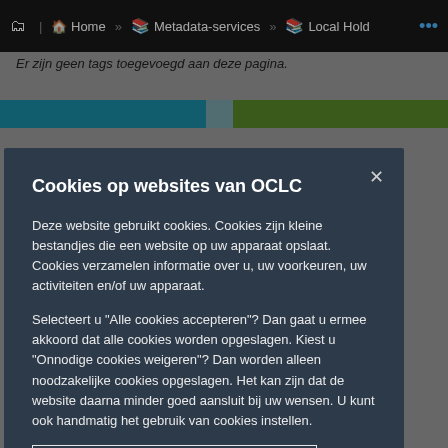Home » Metadata-services » Local Hold ...
Er zijn geen tags toegevoegd aan deze pagina.
Cookies op websites van OCLC
Deze website gebruikt cookies. Cookies zijn kleine bestandjes die een website op uw apparaat opslaat. Cookies verzamelen informatie over u, uw voorkeuren, uw activiteiten en/of uw apparaat.
Selecteert u "Alle cookies accepteren"? Dan gaat u ermee akkoord dat alle cookies worden opgeslagen. Kiest u "Onnodige cookies weigeren"? Dan worden alleen noodzakelijke cookies opgeslagen. Het kan zijn dat de website daarna minder goed aansluit bij uw wensen. U kunt ook handmatig het gebruik van cookies instellen.
Zie onze cookiemelding voor meer informatie
Alle cookies
Onnodige cookies